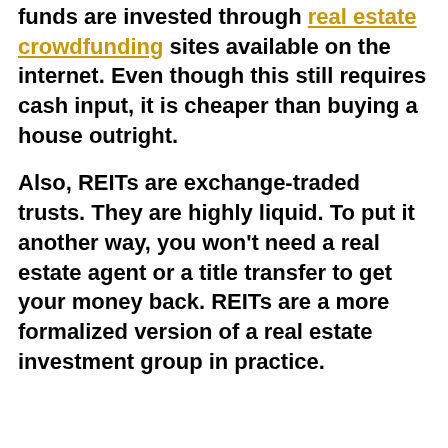funds are invested through real estate crowdfunding sites available on the internet. Even though this still requires cash input, it is cheaper than buying a house outright.
Also, REITs are exchange-traded trusts. They are highly liquid. To put it another way, you won't need a real estate agent or a title transfer to get your money back. REITs are a more formalized version of a real estate investment group in practice.
5. Real Estate Investment Trusts (REITs)
When a corporation (or trust) uses money from investors to buy and operate income properties, it forms a real estate investment trust (REIT). A